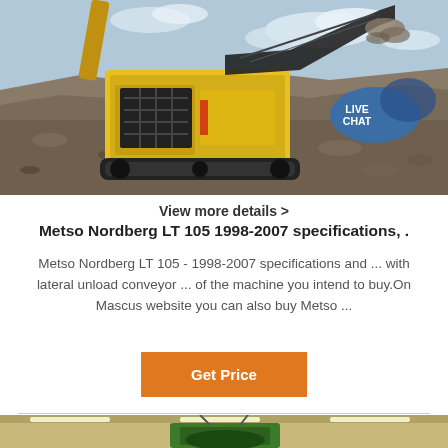[Figure (photo): Yellow Metso Nordberg LT 105 mobile jaw crusher in operation on a gravel/rubble site with a conveyor belt extended, blue sky with clouds in background. LIVE CHAT bubble overlay in top right.]
View more details >
Metso Nordberg LT 105 1998-2007 specifications, .
Metso Nordberg LT 105 - 1998-2007 specifications and ... with lateral unload conveyor ... of the machine you intend to buy.On Mascus website you can also buy Metso ...
Get Price
[Figure (photo): Green industrial machine (roller or mill) hanging from a ceiling in a warehouse interior with fluorescent lighting.]